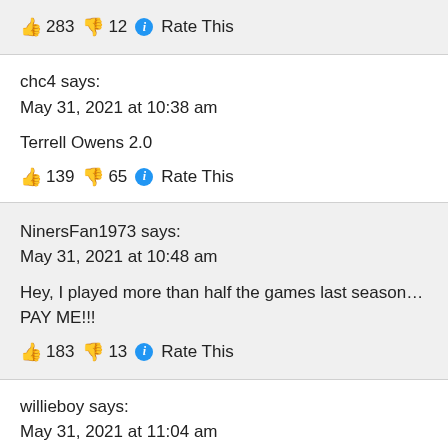👍 283 👎 12 ℹ Rate This
chc4 says:
May 31, 2021 at 10:38 am
Terrell Owens 2.0
👍 139 👎 65 ℹ Rate This
NinersFan1973 says:
May 31, 2021 at 10:48 am
Hey, I played more than half the games last season… PAY ME!!!
👍 183 👎 13 ℹ Rate This
willieboy says:
May 31, 2021 at 11:04 am